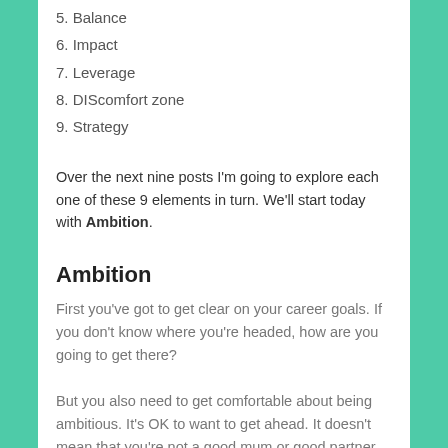5. Balance
6. Impact
7. Leverage
8. DIScomfort zone
9. Strategy
Over the next nine posts I'm going to explore each one of these 9 elements in turn. We'll start today with Ambition.
Ambition
First you've got to get clear on your career goals. If you don't know where you're headed, how are you going to get there?
But you also need to get comfortable about being ambitious. It's OK to want to get ahead. It doesn't mean that you're not a good mum or good partner or good